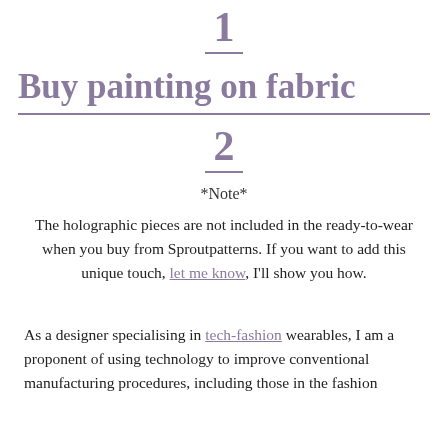1
Buy painting on fabric
2
*Note*
The holographic pieces are not included in the ready-to-wear when you buy from Sproutpatterns. If you want to add this unique touch, let me know, I'll show you how.
As a designer specialising in tech-fashion wearables, I am a proponent of using technology to improve conventional manufacturing procedures, including those in the fashion